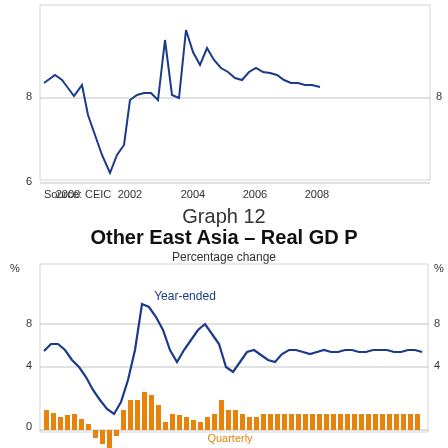[Figure (continuous-plot): Top line chart showing China real GDP percentage change from 2000 to 2008, values ranging from about 6 to above 10, with a dip around 2002 to ~6.2 and peaks around 2004 and 2007. Source: CEIC.]
Source: CEIC
Graph 12
Other East Asia – Real GDP
Percentage change
[Figure (continuous-plot): Combined bar and line chart showing Other East Asia Real GDP. Blue line shows year-ended percentage change (ranging 0–9%), orange bars show quarterly percentage change. X-axis from ~1999 to 2008, Y-axis 0 to 8+%.]